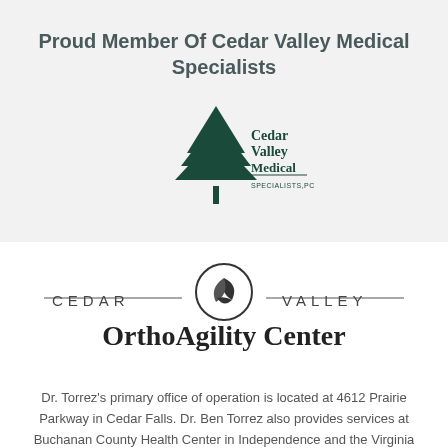Proud Member Of Cedar Valley Medical Specialists
[Figure (logo): Cedar Valley Medical Specialists PC logo with a tall evergreen tree and text 'Cedar Valley Medical SPECIALISTS,PC']
[Figure (logo): Cedar Valley OrthoAgility Center logo with leaf/plant emblem, text 'CEDAR VALLEY' in spaced caps with horizontal rules, and 'OrthoAgility Center' in large serif font]
Dr. Torrez's primary office of operation is located at 4612 Prairie Parkway in Cedar Falls. Dr. Ben Torrez also provides services at Buchanan County Health Center in Independence and the Virginia Gay Hospital in Vinton.